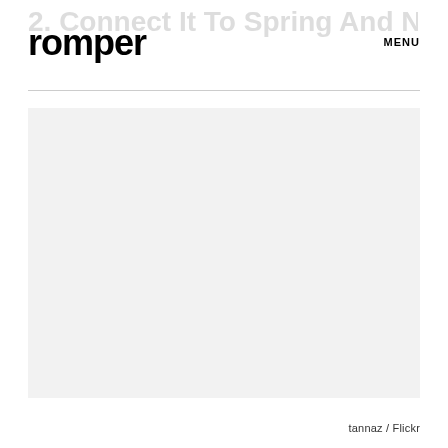romper  MENU
2. Connect It To Spring And New Life
[Figure (photo): Light grey/white blank image placeholder area]
tannaz / Flickr